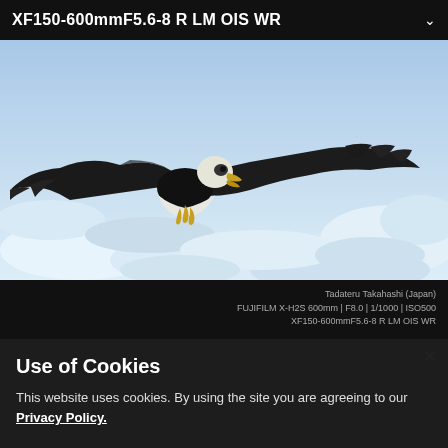XF150-600mmF5.6-8 R LM OIS WR
[Figure (photo): Bald eagle in flight over icy/snowy landscape, wings spread wide, dark feathers with white head and tail, blue-white snowy background]
Tadateru Takahashi (Japan)
FUJIFILM X-H2S 600mm | F8.0 | 1/1000 | ISO500
XF150-600mmF5.6-8 R LM OIS WR
Use of Cookies
This website uses cookies. By using the site you are agreeing to our Privacy Policy.